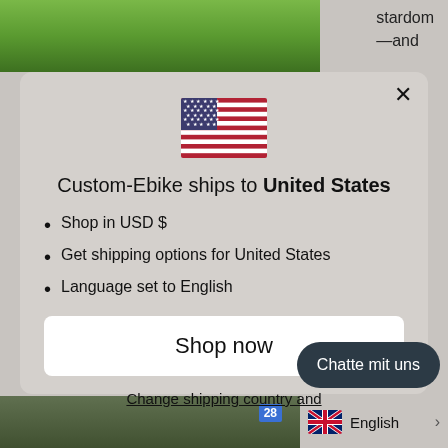stardom —and
[Figure (screenshot): Background: grassy green field photo at top, sports photo at bottom]
×
[Figure (illustration): US flag icon]
Custom-Ebike ships to United States
Shop in USD $
Get shipping options for United States
Language set to English
Shop now
Change shipping country and
Chatte mit uns
English >